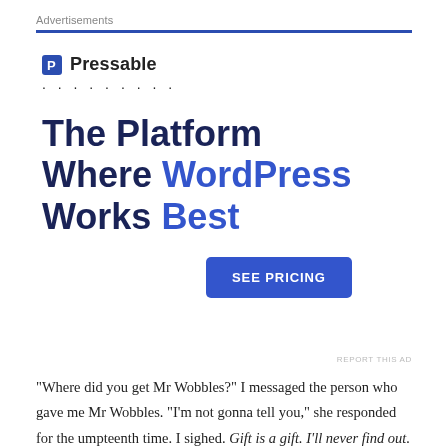Advertisements
[Figure (infographic): Pressable advertisement. Logo with 'P' icon and 'Pressable' text, dotted line, headline 'The Platform Where WordPress Works Best', blue 'SEE PRICING' button.]
REPORT THIS AD
“Where did you get Mr Wobbles?” I messaged the person who gave me Mr Wobbles. “I’m not gonna tell you,” she responded for the umpteenth time. I sighed. Gift is a gift. I’ll never find out.